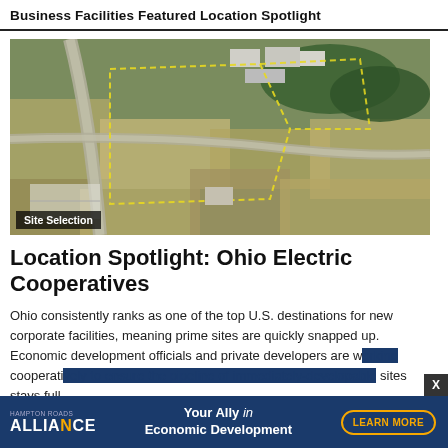Business Facilities Featured Location Spotlight
[Figure (photo): Aerial satellite view of rural Ohio land parcels with roads, agricultural fields, and some industrial/warehouse buildings. Yellow dotted lines outline a highlighted site area.]
Site Selection
Location Spotlight: Ohio Electric Cooperatives
Ohio consistently ranks as one of the top U.S. destinations for new corporate facilities, meaning prime sites are quickly snapped up. Economic development officials and private developers are working cooperatively to ensure the pipeline of immediately-developable sites stays full
[Figure (infographic): Advertisement banner for Alliance Economic Development. Shows 'Your Ally in Economic Development' tagline with LEARN MORE button. Has an X close button.]